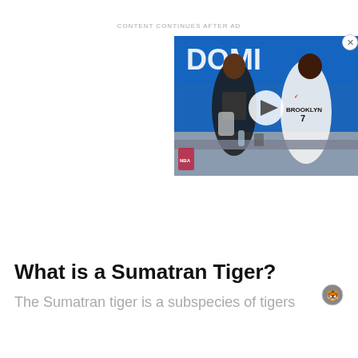CONTENT CONTINUES AFTER AD
[Figure (photo): Video thumbnail showing two Brooklyn Nets basketball players (jersey numbers visible, one wearing jersey #7 BROOKLYN) seated on a bench at what appears to be an NBA press conference or bench area with a blue background, with a white play button overlay indicating a video]
What is a Sumatran Tiger?
The Sumatran tiger is a subspecies of tigers